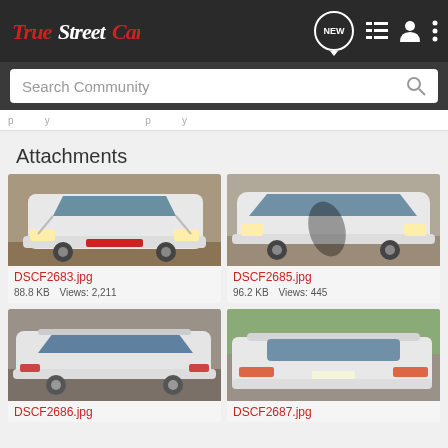True Street Cars - Navigation bar with logo, NEW button, list icon, user icon, more options icon
Search Community
(partial navigation strip)
Attachments
[Figure (photo): Front view of white sports car (Camaro/Firebird) in a junkyard, daytime]
DSCF2683.jpg
88.8 KB    Views: 2,211
[Figure (photo): Side/front view of white sports car in outdoor lot, shadow of person visible]
DSCF2685.jpg
96.2 KB    Views: 445
[Figure (photo): Rear three-quarter view of white Camaro/Firebird, outdoor lot]
DSCF2686.jpg
[Figure (photo): Rear view of white sports car with spoiler, outdoor wooded area]
DSCF2687.jpg